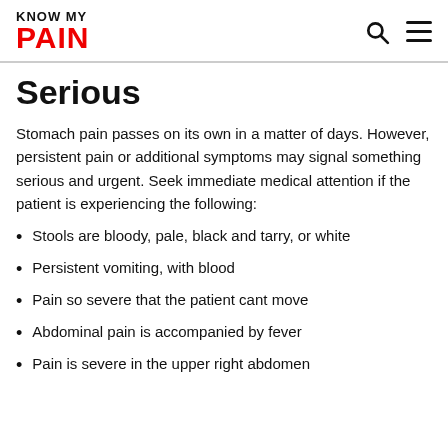KNOW MY PAIN
Serious
Stomach pain passes on its own in a matter of days. However, persistent pain or additional symptoms may signal something serious and urgent. Seek immediate medical attention if the patient is experiencing the following:
Stools are bloody, pale, black and tarry, or white
Persistent vomiting, with blood
Pain so severe that the patient cant move
Abdominal pain is accompanied by fever
Pain is severe in the upper right abdomen